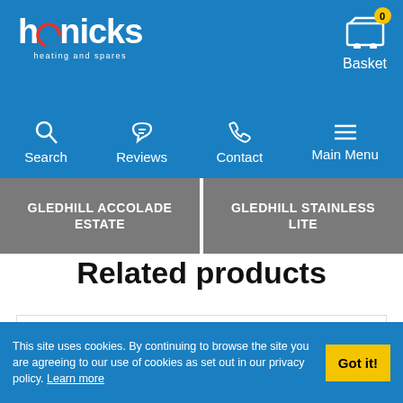hanicks heating and spares — Basket 0
Search | Reviews | Contact | Main Menu
GLEDHILL ACCOLADE ESTATE
GLEDHILL STAINLESS LITE
Related products
[Figure (photo): Product image placeholder in a bordered card area]
This site uses cookies. By continuing to browse the site you are agreeing to our use of cookies as set out in our privacy policy. Learn more